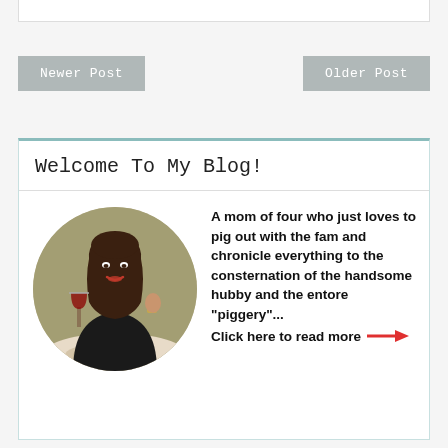Newer Post
Older Post
Welcome To My Blog!
[Figure (photo): Circular profile photo of a woman with long dark hair, wearing a black top, holding a wine glass and smiling at a restaurant table]
A mom of four who just loves to pig out with the fam and chronicle everything to the consternation of the handsome hubby and the entore "piggery"... Click here to read more →